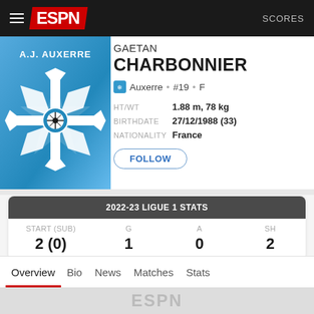ESPN  SCORES
[Figure (logo): A.J. Auxerre club logo - blue shield with white snowflake/cross pattern]
GAETAN CHARBONNIER
Auxerre • #19 • F
HT/WT  1.88 m, 78 kg
BIRTHDATE  27/12/1988 (33)
NATIONALITY  France
FOLLOW
| START (SUB) | G | A | SH |
| --- | --- | --- | --- |
| 2 (0) | 1 | 0 | 2 |
Overview
Bio
News
Matches
Stats